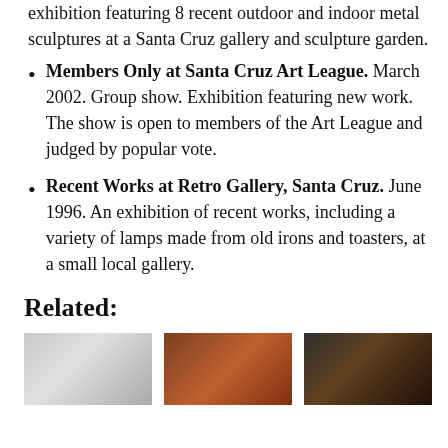exhibition featuring 8 recent outdoor and indoor metal sculptures at a Santa Cruz gallery and sculpture garden.
Members Only at Santa Cruz Art League. March 2002. Group show. Exhibition featuring new work. The show is open to members of the Art League and judged by popular vote.
Recent Works at Retro Gallery, Santa Cruz. June 1996. An exhibition of recent works, including a variety of lamps made from old irons and toasters, at a small local gallery.
Related:
[Figure (photo): Three thumbnail images side by side below the Related header]